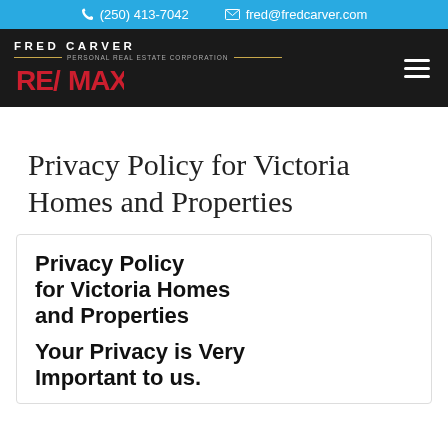(250) 413-7042   fred@fredcarver.com
[Figure (logo): Fred Carver RE/MAX logo on dark background with hamburger menu icon]
Privacy Policy for Victoria Homes and Properties
Privacy Policy for Victoria Homes and Properties
Your Privacy is Very Important to us.